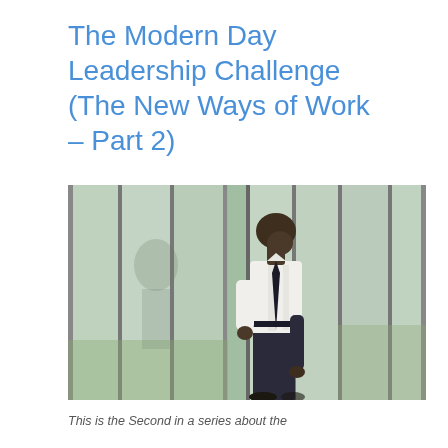The Modern Day Leadership Challenge (The New Ways of Work – Part 2)
[Figure (photo): A Black man in a white dress shirt and dark trousers stands leaning slightly forward against large glass windows/panels, head bowed downward in a contemplative or stressed posture. The background shows a glass office building exterior with greenery outside.]
This is the Second in a series about the